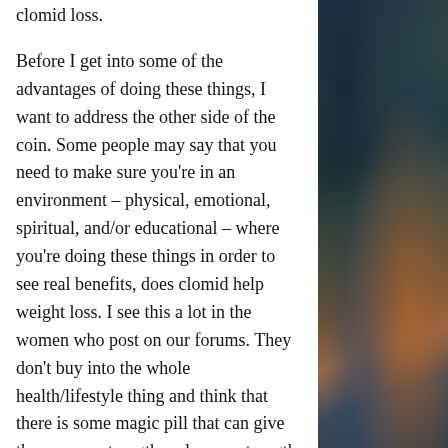clomid loss.
Before I get into some of the advantages of doing these things, I want to address the other side of the coin. Some people may say that you need to make sure you're in an environment – physical, emotional, spiritual, and/or educational – where you're doing these things in order to see real benefits, does clomid help weight loss. I see this a lot in the women who post on our forums. They don't buy into the whole health/lifestyle thing and think that there is some magic pill that can give them super-strength and super-strength power and then help them lose weight and keep themselves from gaining that weight, clen and t3 cycle for fat loss.
Cramping on clomid a good sign
In terms of dosing Clomid as a PCT, a good
[Figure (photo): Blurred bokeh background photo with dark teal, blue and orange tones suggesting an outdoor scene with fabric or clothing in the foreground]